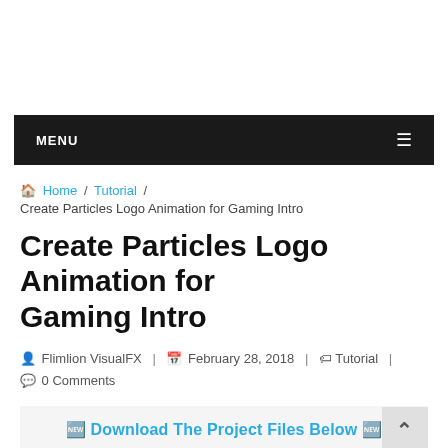MENU
🏠 Home / Tutorial / Create Particles Logo Animation for Gaming Intro
Create Particles Logo Animation for Gaming Intro
Flimlion VisualFX | February 28, 2018 | Tutorial | 0 Comments
🎬 Download The Project Files Below 🎬